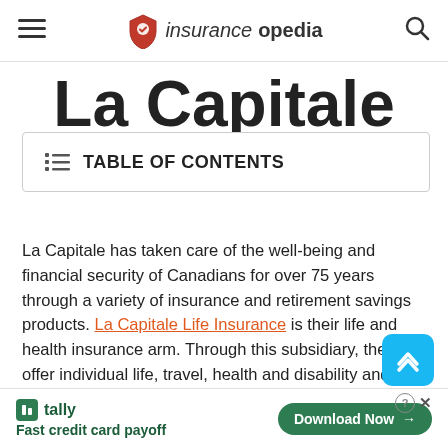insuranceopedia
La Capitale
TABLE OF CONTENTS
La Capitale has taken care of the well-being and financial security of Canadians for over 75 years through a variety of insurance and retirement savings products. La Capitale Life Insurance is their life and health insurance arm. Through this subsidiary, they offer individual life, travel, health and disability and accident insurance. They also offer a limited line of group benefits products aimed at small businesses.
Manulife Financial
[Figure (other): Advertisement banner: Tally - Fast credit card payoff with Download Now button]